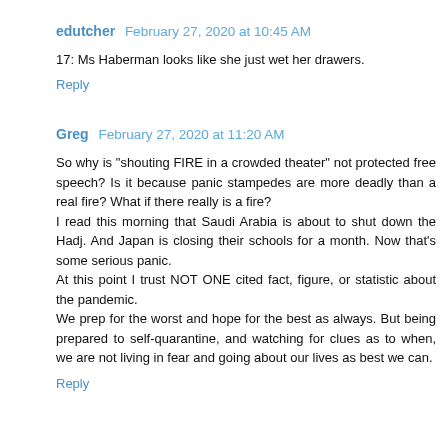edutcher  February 27, 2020 at 10:45 AM
17: Ms Haberman looks like she just wet her drawers.
Reply
Greg  February 27, 2020 at 11:20 AM
So why is "shouting FIRE in a crowded theater" not protected free speech? Is it because panic stampedes are more deadly than a real fire? What if there really is a fire?
I read this morning that Saudi Arabia is about to shut down the Hadj. And Japan is closing their schools for a month. Now that's some serious panic.
At this point I trust NOT ONE cited fact, figure, or statistic about the pandemic.
We prep for the worst and hope for the best as always. But being prepared to self-quarantine, and watching for clues as to when, we are not living in fear and going about our lives as best we can.
Reply